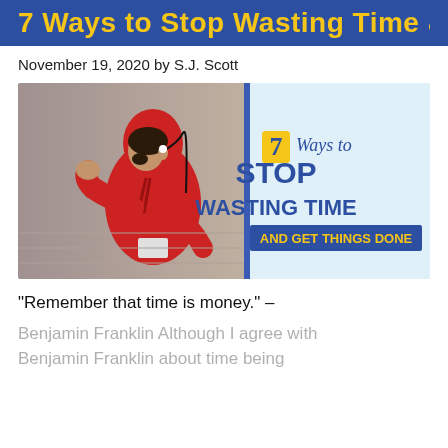7 Ways to Stop Wasting Time and Get Things Done
November 19, 2020 by S.J. Scott
[Figure (illustration): Composite image: left half shows a man in a red hoodie running with earphones; right half has a light blue background with text '7 Ways to STOP WASTING TIME AND GET THINGS DONE']
“Remember that time is money.” –
Benjamin Franklin Although I agree with Benjamin Franklin about time being